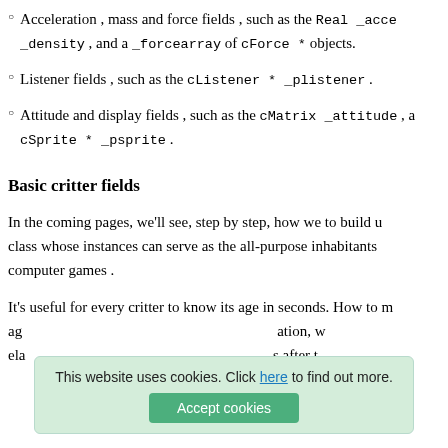Acceleration , mass and force fields , such as the Real _acceleration , _density , and a _forcearray of cForce * objects.
Listener fields , such as the cListener * _plistener .
Attitude and display fields , such as the cMatrix _attitude , a cSprite * _psprite .
Basic critter fields
In the coming pages, we'll see, step by step, how we to build up a class whose instances can serve as the all-purpose inhabitants of computer games .
It's useful for every critter to know its age in seconds. How to measure age elapsed since creation, w elapsed ation, s after t
This website uses cookies. Click here to find out more. Accept cookies